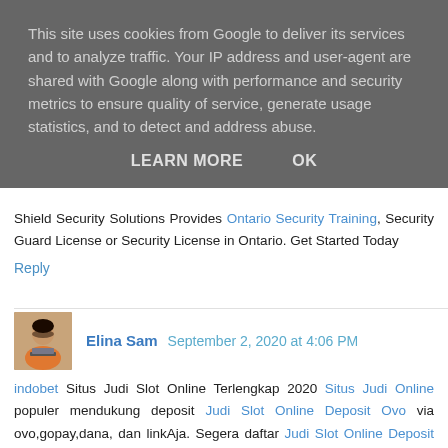This site uses cookies from Google to deliver its services and to analyze traffic. Your IP address and user-agent are shared with Google along with performance and security metrics to ensure quality of service, generate usage statistics, and to detect and address abuse.
LEARN MORE   OK
Shield Security Solutions Provides Ontario Security Training, Security Guard License or Security License in Ontario. Get Started Today
Reply
Elina Sam September 2, 2020 at 4:06 PM
indobet Situs Judi Slot Online Terlengkap 2020 Situs Judi Online populer mendukung deposit Judi Slot Online Deposit Ovo via ovo,gopay,dana, dan linkAja. Segera daftar Judi Slot Online Deposit GoPay di indobet dan klaim promo menariknya Judi Slot Online Deposit Dana.
Reply